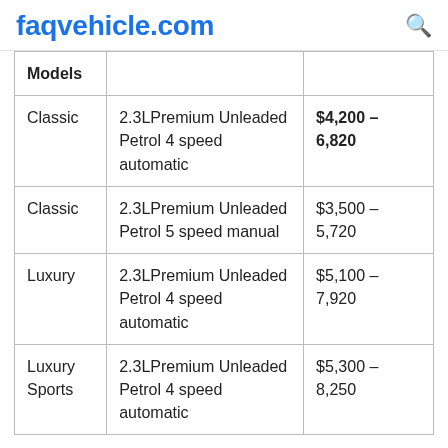faqvehicle.com
| Models |  |  |
| --- | --- | --- |
| Classic | 2.3LPremium Unleaded Petrol 4 speed automatic | $4,200 – 6,820 |
| Classic | 2.3LPremium Unleaded Petrol 5 speed manual | $3,500 – 5,720 |
| Luxury | 2.3LPremium Unleaded Petrol 4 speed automatic | $5,100 – 7,920 |
| Luxury Sports | 2.3LPremium Unleaded Petrol 4 speed automatic | $5,300 – 8,250 |
How much does a 2008 mazda 6 cost?